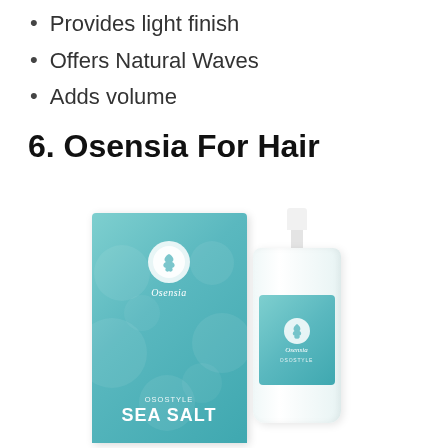Provides light finish
Offers Natural Waves
Adds volume
6. Osensia For Hair
[Figure (photo): Product photo of Osensia Sea Salt hair spray: teal box packaging and spray bottle with teal label, both branded with Osensia logo and 'Sea Salt' text at bottom]